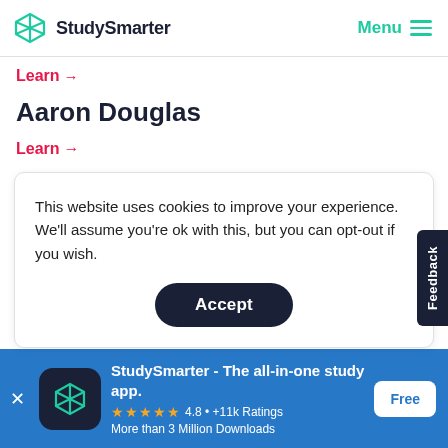StudySmarter | Menu
Learn →
Aaron Douglas
Learn →
This website uses cookies to improve your experience. We'll assume you're ok with this, but you can opt-out if you wish.
Accept
Feedback
StudySmarter - The all-in-one study app.
★★★★★ 4.8 • +11k Ratings
More than 3 Million Downloads
Free